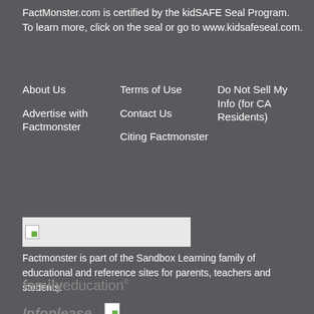FactMonster.com is certified by the kidSAFE Seal Program. To learn more, click on the seal or go to www.kidsafeseal.com.
About Us
Advertise with Factmonster
Terms of Use
Contact Us
Citing Factmonster
Do Not Sell My Info (for CA Residents)
[Figure (logo): Sandbox Learning logo placeholder image (broken image icon on light gray background)]
Factmonster is part of the Sandbox Learning family of educational and reference sites for parents, teachers and students.
[Figure (logo): familyeducation logo in gray text]
[Figure (logo): Infoplease logo in gray italic text with a broken image icon]